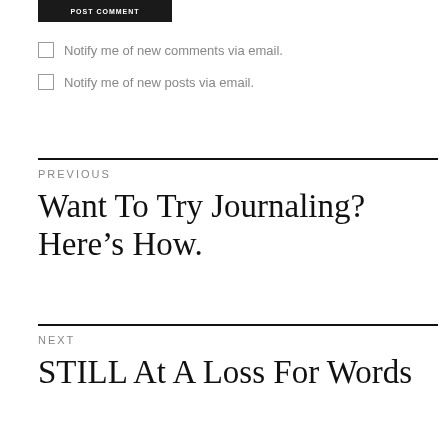[Figure (other): POST COMMENT button - dark/black button at top of page]
Notify me of new comments via email.
Notify me of new posts via email.
PREVIOUS
Want To Try Journaling? Here’s How.
NEXT
STILL At A Loss For Words